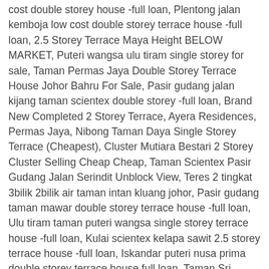cost double storey house -full loan, Plentong jalan kemboja low cost double storey terrace house -full loan, 2.5 Storey Terrace Maya Height BELOW MARKET, Puteri wangsa ulu tiram single storey for sale, Taman Permas Jaya Double Storey Terrace House Johor Bahru For Sale, Pasir gudang jalan kijang taman scientex double storey -full loan, Brand New Completed 2 Storey Terrace, Ayera Residences, Permas Jaya, Nibong Taman Daya Single Storey Terrace (Cheapest), Cluster Mutiara Bestari 2 Storey Cluster Selling Cheap Cheap, Taman Scientex Pasir Gudang Jalan Serindit Unblock View, Teres 2 tingkat 3bilik 2bilik air taman intan kluang johor, Pasir gudang taman mawar double storey terrace house -full loan, Ulu tiram taman puteri wangsa single storey terrace house -full loan, Kulai scientex kelapa sawit 2.5 storey terrace house -full loan, Iskandar puteri nusa prima double storey terrace house full loan, Taman Sri Saujana Kota Double Storey / For Sale, CHEAPEST Permas Jaya 13 STRAIT VIEW RESIDENCES 3 Triple Storey Semi D, Renovated & Extended 2 Storey Cluster